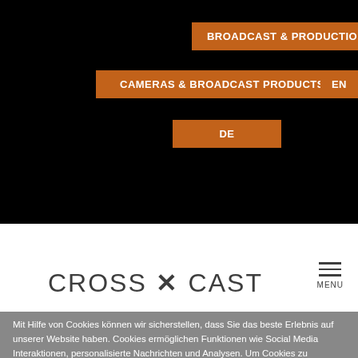BROADCAST & PRODUCTION
CAMERAS & BROADCAST PRODUCTS
EN
DE
[Figure (logo): CROSS X CAST logo in dark grey letters on white background with menu icon]
Mit Hilfe von Cookies können wir sicherstellen, dass Sie das beste Erlebnis auf unserer Website haben. Cookies ermöglichen Funktionen wie Social Media Interaktionen, personalisierte Nachrichten und Analysen. Um Cookies zu aktivieren, klicken Sie